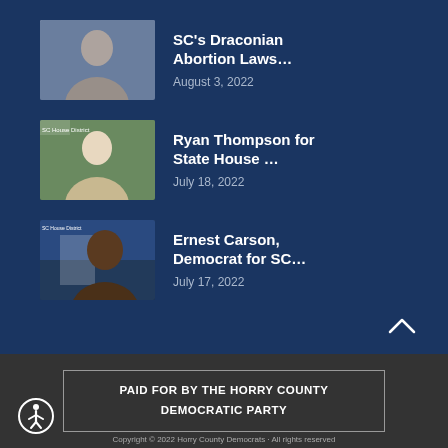SC's Draconian Abortion Laws… — August 3, 2022
Ryan Thompson for State House … — July 18, 2022
Ernest Carson, Democrat for SC… — July 17, 2022
PAID FOR BY THE HORRY COUNTY DEMOCRATIC PARTY